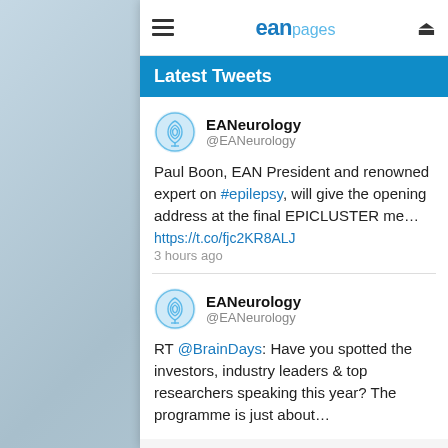eanpages
Latest Tweets
EANeurology @EANeurology
Paul Boon, EAN President and renowned expert on #epilepsy, will give the opening address at the final EPICLUSTER me… https://t.co/fjc2KR8ALJ 3 hours ago
EANeurology @EANeurology
RT @BrainDays: Have you spotted the investors, industry leaders & top researchers speaking this year? The programme is just about…